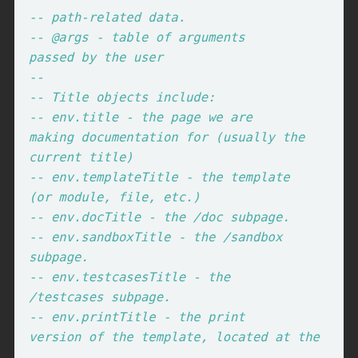-- path-related data.
    -- @args - table of arguments passed by the user
    --
    -- Title objects include:
    -- env.title - the page we are making documentation for (usually the current title)
    -- env.templateTitle - the template (or module, file, etc.)
    -- env.docTitle - the /doc subpage.
    -- env.sandboxTitle - the /sandbox subpage.
    -- env.testcasesTitle - the /testcases subpage.
    -- env.printTitle - the print version of the template, located at the